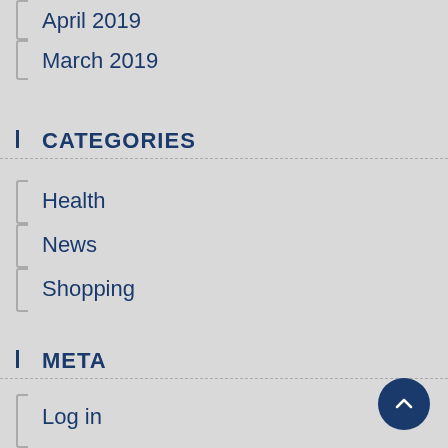April 2019
March 2019
CATEGORIES
Health
News
Shopping
META
Log in